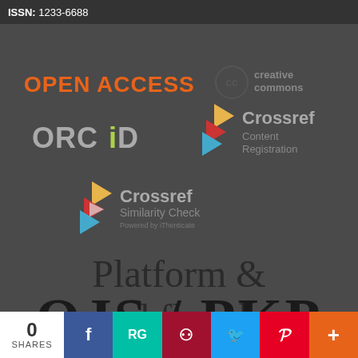ISSN: 1233-6688
[Figure (logo): OPEN ACCESS text logo in orange, Creative Commons logo (cc circle icon with 'creative commons' text), ORCID logo, Crossref Content Registration logo with colored chevrons, Crossref Similarity Check logo with colored chevrons, text 'Platform & workflow by', OJS/PKP large text logo]
Platform & workflow by
OJS / PKP
0 SHARES
[Figure (infographic): Social share bar with buttons: 0 SHARES (white), Facebook (blue), RG ResearchGate (teal), Mendeley (dark red), Twitter (light blue), Pinterest (red), Plus/more (orange)]